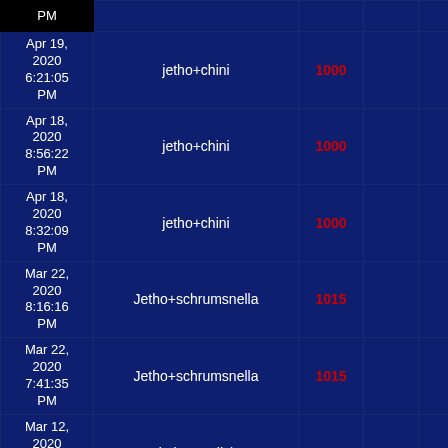| Date | Name | Score |  |  |  |
| --- | --- | --- | --- | --- | --- |
| PM |  |  |  |  |  |
| Apr 19, 2020 6:21:05 PM | jetho+chini | 1000 |  |  |  |
| Apr 18, 2020 8:56:22 PM | jetho+chini | 1000 |  |  |  |
| Apr 18, 2020 8:32:09 PM | jetho+chini | 1000 |  |  |  |
| Mar 22, 2020 8:16:16 PM | Jetho+schrumsnella | 1015 |  |  |  |
| Mar 22, 2020 7:41:35 PM | Jetho+schrumsnella | 1015 |  |  |  |
| Mar 12, 2020 9:57:44 PM | jetho+mulici | 1019 |  |  |  |
| Mar 12, 2020 8:42:44 | jetho+mulici | 1019 |  |  |  |